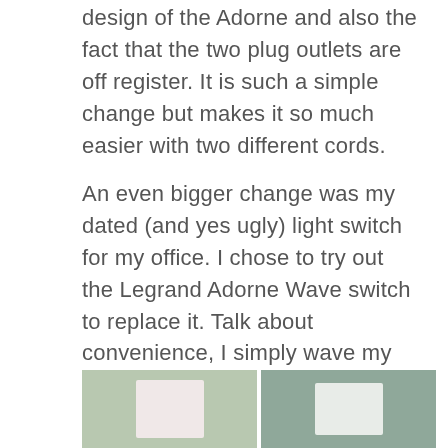design of the Adorne and also the fact that the two plug outlets are off register. It is such a simple change but makes it so much easier with two different cords.
An even bigger change was my dated (and yes ugly) light switch for my office. I chose to try out the Legrand Adorne Wave switch to replace it. Talk about convenience, I simply wave my hand in front of the black dot and voila! the light turns on and off.
[Figure (photo): Two light switch plates side by side: left plate is pinkish-white on a sage green wall, right plate is white/gray on a sage green wall.]